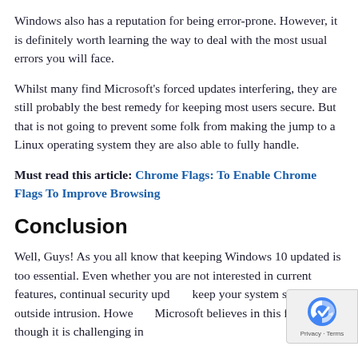Windows also has a reputation for being error-prone. However, it is definitely worth learning the way to deal with the most usual errors you will face.
Whilst many find Microsoft's forced updates interfering, they are still probably the best remedy for keeping most users secure. But that is not going to prevent some folk from making the jump to a Linux operating system they are also able to fully handle.
Must read this article: Chrome Flags: To Enable Chrome Flags To Improve Browsing
Conclusion
Well, Guys! As you all know that keeping Windows 10 updated is too essential. Even whether you are not interested in current features, continual security updates keep your system safe from outside intrusion. However, Microsoft believes in this firmly, & though it is challenging in